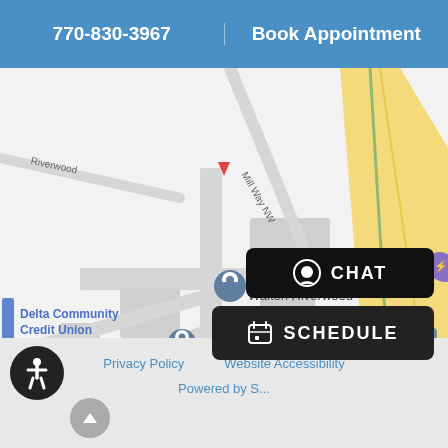770-830-3967 | Book Appointment
[Figure (map): Google Maps view showing Walton Riverwood location, Delta Community Credit Union, Charles Schwab, SemaConnect Charging Station, with roads including Blvd SE, Riverwood, and Mill Way NW visible.]
Privacy Policy   Website Accessibility
Powered by S...
[Figure (infographic): CHAT button (dark rounded rectangle with chat/person icon)]
[Figure (infographic): SCHEDULE button (dark rounded rectangle with calendar icon)]